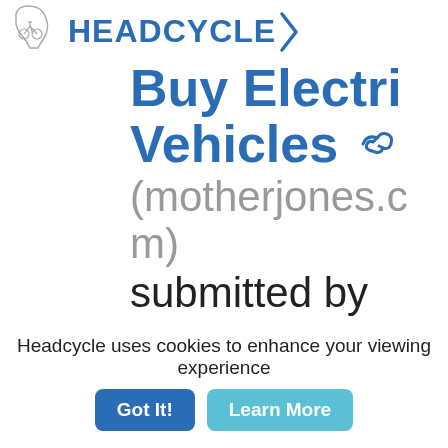[Figure (logo): Headcycle logo: silhouette of a head with a bicycle inside, next to the text HEADCYCLE in bold blue letters]
Buy Electric Vehicles
(motherjones.com)
submitted by kermit 10 days
Headcycle uses cookies to enhance your viewing experience
Got It!  Learn More